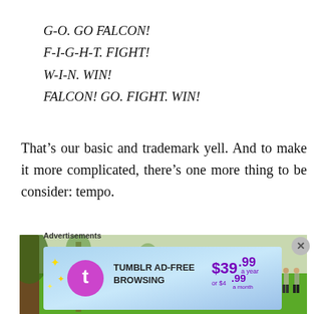G-O. GO FALCON!
F-I-G-H-T. FIGHT!
W-I-N. WIN!
FALCON! GO. FIGHT. WIN!
That’s our basic and trademark yell. And to make it more complicated, there’s one more thing to be consider: tempo.
[Figure (photo): Outdoor photo of people on a grass field with trees in the background, appears to be a group activity or game]
Advertisements
[Figure (other): Tumblr Ad-Free Browsing advertisement banner: $39.99 a year or $4.99 a month]